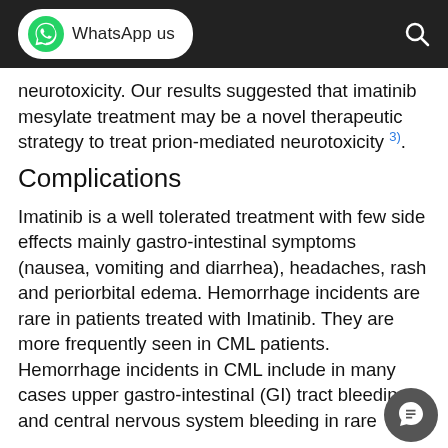WhatsApp us
neurotoxicity. Our results suggested that imatinib mesylate treatment may be a novel therapeutic strategy to treat prion-mediated neurotoxicity 3).
Complications
Imatinib is a well tolerated treatment with few side effects mainly gastro-intestinal symptoms (nausea, vomiting and diarrhea), headaches, rash and periorbital edema. Hemorrhage incidents are rare in patients treated with Imatinib. They are more frequently seen in CML patients. Hemorrhage incidents in CML include in many cases upper gastro-intestinal (GI) tract bleeding and central nervous system bleeding in rare